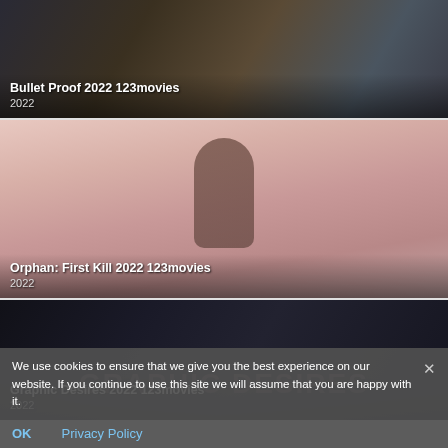[Figure (screenshot): Movie thumbnail for Bullet Proof 2022 123movies showing two people near a car in an outdoor scene]
Bullet Proof 2022 123movies
2022
[Figure (screenshot): Movie thumbnail for Orphan: First Kill 2022 123movies showing a child seen from behind with a pink/dusty rose background]
Orphan: First Kill 2022 123movies
2022
[Figure (screenshot): Movie thumbnail for Graphic Desires 2022 123movies showing a dark scene with large text GRAPHIC DESIRES]
Graphic Desires 2022 123movies
2022
We use cookies to ensure that we give you the best experience on our website. If you continue to use this site we will assume that you are happy with it.
OK    Privacy Policy